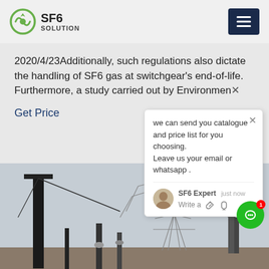SF6 SOLUTION
2020/4/23Additionally, such regulations also dictate the handling of SF6 gas at switchgear's end-of-life. Furthermore, a study carried out by Environmen...
Get Price
we can send you catalogue and price list for you choosing.
Leave us your email or whatsapp .
SF6 Expert   just now
Write a
[Figure (photo): Outdoor electrical substation with high-voltage transmission line towers, switchgear equipment, and steel structures against a cloudy sky.]